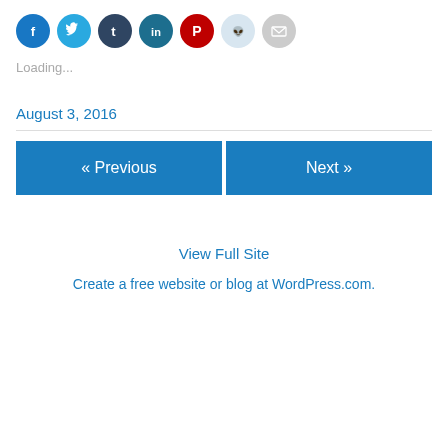[Figure (infographic): Row of social media share icon buttons: Facebook (blue), Twitter (light blue), Tumblr (dark blue), LinkedIn (dark teal), Pinterest (red), Reddit (light gray), Email (gray)]
Loading...
August 3, 2016
« Previous
Next »
View Full Site
Create a free website or blog at WordPress.com.